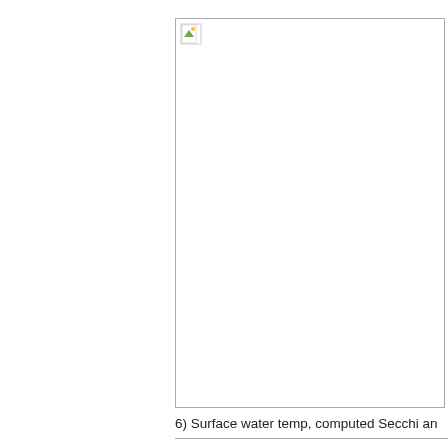[Figure (other): A broken/missing image placeholder shown as a small icon in the top-left corner of a white bordered rectangle, indicating an image that failed to load.]
6) Surface water temp, computed Secchi an